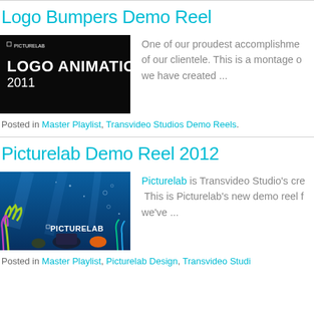Logo Bumpers Demo Reel
[Figure (screenshot): Black background image with PICTURELAB logo and text LOGO ANIMATIONS 2011 in white]
One of our proudest accomplishments of our clientele. This is a montage of we have created ...
Posted in Master Playlist, Transvideo Studios Demo Reels.
Picturelab Demo Reel 2012
[Figure (screenshot): Underwater animated scene with PICTURELAB text and colorful sea creatures]
Picturelab is Transvideo Studio's cre. This is Picturelab's new demo reel f we've ...
Posted in Master Playlist, Picturelab Design, Transvideo Studi